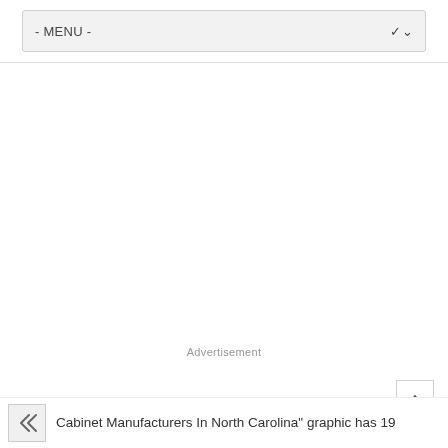- MENU -
Advertisement
Cabinet Manufacturers In North Carolina" graphic has 19